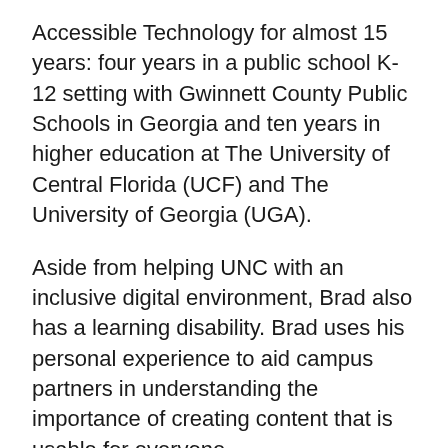Accessible Technology for almost 15 years: four years in a public school K-12 setting with Gwinnett County Public Schools in Georgia and ten years in higher education at The University of Central Florida (UCF) and The University of Georgia (UGA).
Aside from helping UNC with an inclusive digital environment, Brad also has a learning disability. Brad uses his personal experience to aid campus partners in understanding the importance of creating content that is usable for everyone.
Presentation Media
Brad’s slides (Powerpoint)
Brad’s recording (Youtube)